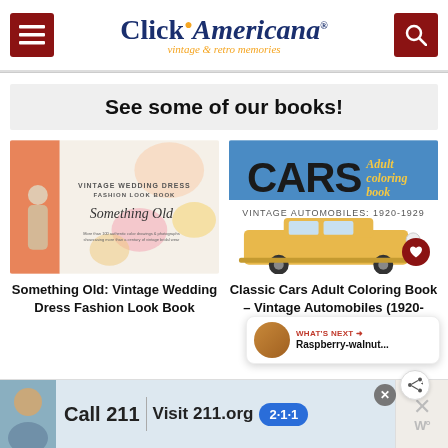[Figure (screenshot): Click Americana website header with hamburger menu on left, logo in center, and search button on right]
See some of our books!
[Figure (photo): Book cover: Something Old: Vintage Wedding Dress Fashion Look Book]
[Figure (photo): Book cover: Classic Cars Adult Coloring Book – Vintage Automobiles (1920-1929)]
Something Old: Vintage Wedding Dress Fashion Look Book
Classic Cars Adult Coloring Book – Vintage Automobiles (1920-1929)
[Figure (screenshot): Advertisement banner: Call 211 | Visit 211.org with 2-1-1 badge and child photo]